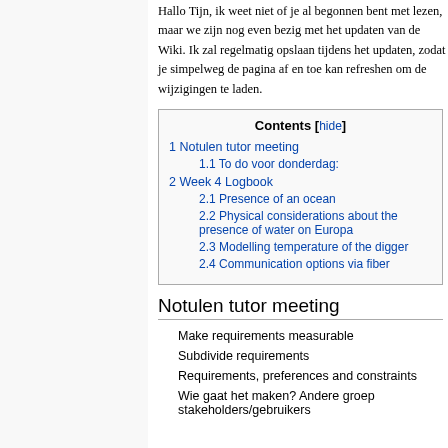Hallo Tijn, ik weet niet of je al begonnen bent met lezen, maar we zijn nog even bezig met het updaten van de Wiki. Ik zal regelmatig opslaan tijdens het updaten, zodat je simpelweg de pagina af en toe kan refreshen om de wijzigingen te laden.
| Contents |
| --- |
| 1 Notulen tutor meeting |
| 1.1 To do voor donderdag: |
| 2 Week 4 Logbook |
| 2.1 Presence of an ocean |
| 2.2 Physical considerations about the presence of water on Europa |
| 2.3 Modelling temperature of the digger |
| 2.4 Communication options via fiber |
Notulen tutor meeting
Make requirements measurable
Subdivide requirements
Requirements, preferences and constraints
Wie gaat het maken? Andere groep stakeholders/gebruikers